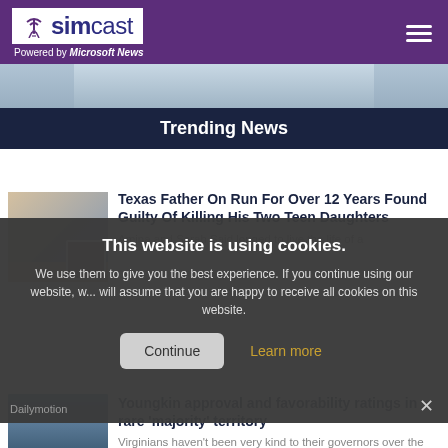simcast — Powered by Microsoft News
[Figure (photo): Hero image of a person in a light blue shirt, partially visible]
Trending News
[Figure (photo): Thumbnail of two teenage girls smiling and a smaller inset photo of a man]
Texas Father On Run For Over 12 Years Found Guilty Of Killing His Two Teen Daughters
Amina and Sarah Said longed to live the life of a
This website is using cookies. We use them to give you the best experience. If you continue using our website, we will assume that you are happy to receive all cookies on this website.
Continue
Learn more
Dailymotion
[Figure (photo): Thumbnail of Glenn Youngkin at a podium with 'welcomes governor' text visible]
Youngkin approval and favorability ratings in rare 'majority' territory
Virginians haven't been very kind to their governors over the past decade, but Republica